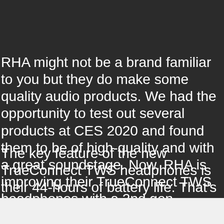RHA might not be a brand familiar to you but they do make some quality audio products. We had the opportunity to test out several products at CES 2020 and found them to be of high-quality and with a great soundstage. Now, RHA is improving their TrueConnect TWS headphones with a 2nd gen version.
The key feature of the new TrueConnect TWS headphones is their 44-hours of battery life. That's pretty huge for a pair of TWS headphones. Of course, this isn't continual battery life but combined life of the headphones and case, the... Generally TWS A...